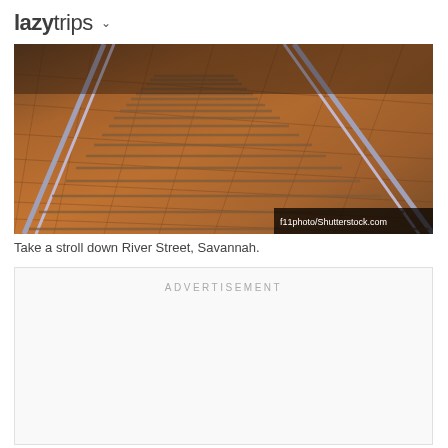lazytrips ▾
[Figure (photo): Close-up photo of railroad tracks on cobblestone street (River Street, Savannah), warm orange-brown tones at golden hour. Photo credit: f11photo/Shutterstock.com]
Take a stroll down River Street, Savannah.
ADVERTISEMENT